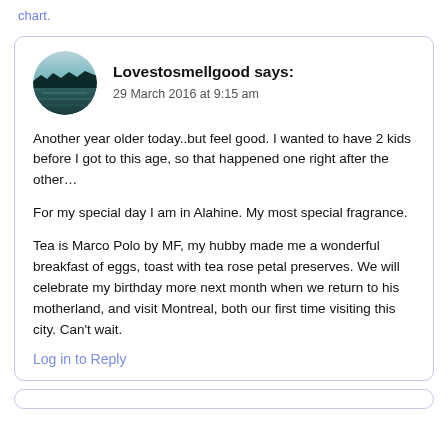chart.
Lovestosmellgood says:
29 March 2016 at 9:15 am
Another year older today..but feel good. I wanted to have 2 kids before I got to this age, so that happened one right after the other...

For my special day I am in Alahine. My most special fragrance.

Tea is Marco Polo by MF, my hubby made me a wonderful breakfast of eggs, toast with tea rose petal preserves. We will celebrate my birthday more next month when we return to his motherland, and visit Montreal, both our first time visiting this city. Can't wait.
Log in to Reply